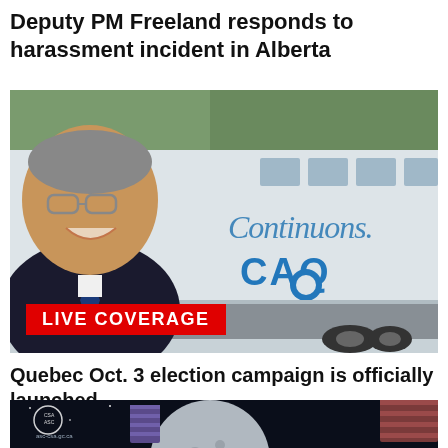Deputy PM Freeland responds to harassment incident in Alberta
[Figure (photo): A smiling man in a suit and tie in front of a campaign bus with 'Continuons. CAQ' written on the side, with a red 'LIVE COVERAGE' badge overlaid at the bottom left.]
Quebec Oct. 3 election campaign is officially launched
[Figure (photo): Space illustration showing a spacecraft near the moon with solar panels and a CSA/ASC logo and website asc-csa.gc.ca visible.]